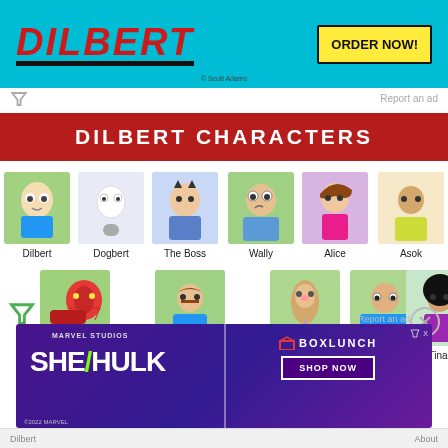[Figure (illustration): Dilbert comic strip advertisement banner with cyan background, Dilbert logo in red italic text, and yellow ORDER NOW button. Copyright Scott Adams text at bottom.]
Report an ad
DILBERT CHARACTERS
[Figure (illustration): Dilbert character thumbnail - man with glasses and blue shirt on green background]
Dilbert
[Figure (illustration): Dogbert character thumbnail - dog sitting on stool on grey background]
Dogbert
[Figure (illustration): The Boss character thumbnail - man with devil horns in blue shirt]
The Boss
[Figure (illustration): Wally character thumbnail - man with glasses drinking coffee]
Wally
[Figure (illustration): Alice character thumbnail - woman with large brown hair]
Alice
[Figure (illustration): Asok character thumbnail - man in yellow shirt]
Asok
[Figure (illustration): Catbert character thumbnail - red cat on desk on green background]
Catbert
[Figure (illustration): Carol character thumbnail - woman at computer]
Carol
[Figure (illustration): Ratbert character thumbnail - rat standing]
Ratbert
[Figure (illustration): Ted character thumbnail - man with glasses]
Ted
[Figure (illustration): Tina character thumbnail - woman with large afro]
Tina
[Figure (advertisement): Marvel Studios She-Hulk and BoxLunch advertisement with purple background, green slash logo and Shop Now button]
Dilbert    About